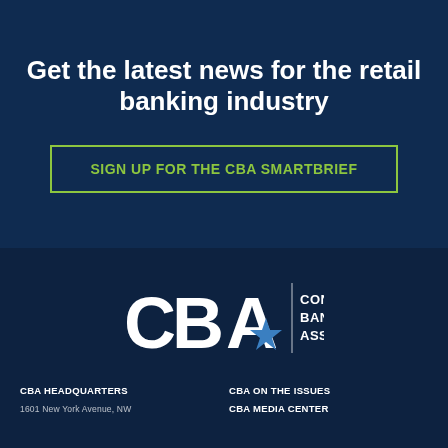Get the latest news for the retail banking industry
SIGN UP FOR THE CBA SMARTBRIEF
[Figure (logo): CBA Consumer Bankers Association logo with star icon and vertical divider]
CBA HEADQUARTERS
1601 New York Avenue, NW
CBA ON THE ISSUES
CBA MEDIA CENTER